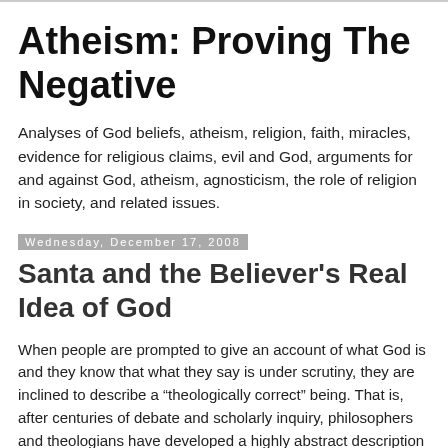Atheism: Proving The Negative
Analyses of God beliefs, atheism, religion, faith, miracles, evidence for religious claims, evil and God, arguments for and against God, atheism, agnosticism, the role of religion in society, and related issues.
Wednesday, December 17, 2008
Santa and the Believer’s Real Idea of God
When people are prompted to give an account of what God is and they know that what they say is under scrutiny, they are inclined to describe a “theologically correct” being. That is, after centuries of debate and scholarly inquiry, philosophers and theologians have developed a highly abstract description of a being who possesses a set of